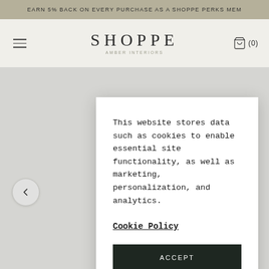EARN 5% BACK ON EVERY PURCHASE AS A SHOPPE PERKS MEM
SHOPPE
AMBER INTERIORS
This website stores data such as cookies to enable essential site functionality, as well as marketing, personalization, and analytics.
Cookie Policy
ACCEPT
DENY